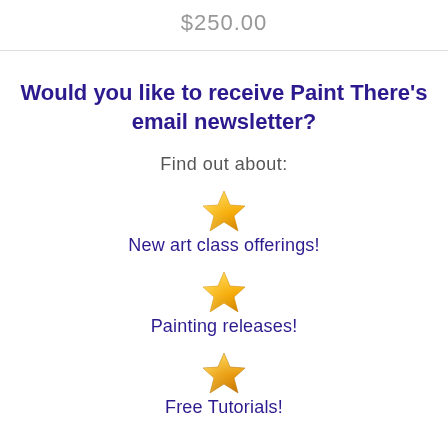$250.00
Would you like to receive Paint There's email newsletter?
Find out about:
New art class offerings!
Painting releases!
Free Tutorials!